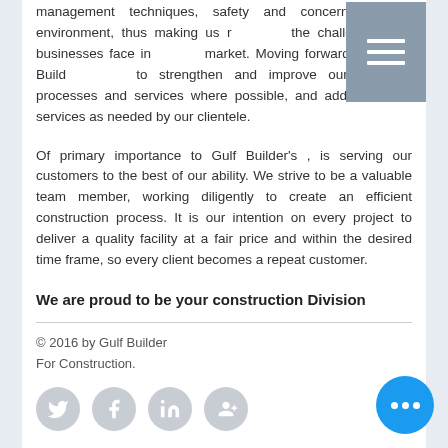management techniques, safety and concern for the environment, thus making us ready for the challenges that businesses face in today's market. Moving forward, it is Gulf Builder's goal to strengthen and improve our workflow processes and services where possible, and add additional services as needed by our clientele.
Of primary importance to Gulf Builder's , is serving our customers to the best of our ability. We strive to be a valuable team member, working diligently to create an efficient construction process. It is our intention on every project to deliver a quality facility at a fair price and within the desired time frame, so every client becomes a repeat customer.
We are proud to be your construction Division
© 2016 by Gulf Builder For Construction.